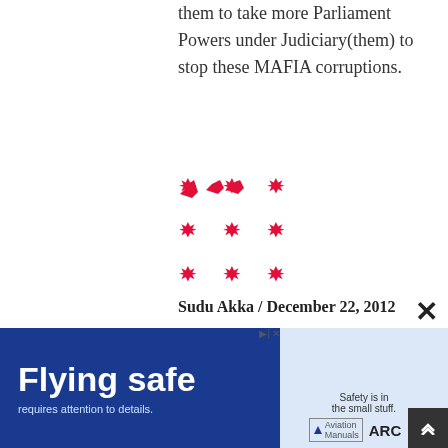them to take more Parliament Powers under Judiciary(them) to stop these MAFIA corruptions.
[Figure (logo): Red decorative star/cross pattern icon]
Sudu Akka / December 22, 2012
[Figure (infographic): Thumbs up (green) with count 0, thumbs down (red) with count 0]
CJ to enter politics is like putting Dracula in charge of the blood bank. BASL President is a disgrace to the legal frantanity.He is a UNP
[Figure (screenshot): Advertisement: left side blue background with text 'Flying safe requires attention to details.'; right side showing aviation manuals and ARC logo with laptop/tablet imagery and 'Safety is in the small stuff.' tagline]